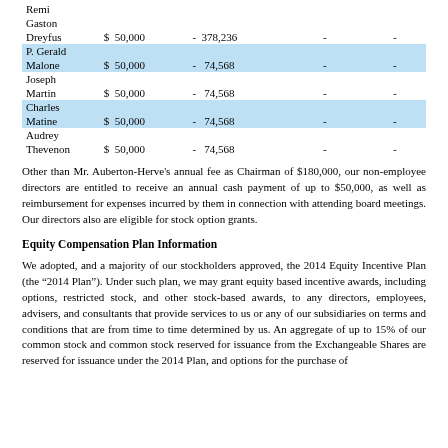| Name | Fees Earned or Paid in Cash | Stock Awards | Option Awards | Non-Qualified Deferred Compensation | Other |
| --- | --- | --- | --- | --- | --- |
| Remi Gaston Dreyfus | $ 50,000 | - 378,236 | - | - |
| P. Gerald Malone | $ 50,000 | - 74,568 | - | - |
| Joseph Martin | $ 50,000 | - 74,568 | - | - |
| Charles Matine | $ 50,000 | - 74,568 | - | - |
| Audrey Thevenon | $ 50,000 | - 74,568 | - | - |
Other than Mr. Auberton-Herve's annual fee as Chairman of $180,000, our non-employee directors are entitled to receive an annual cash payment of up to $50,000, as well as reimbursement for expenses incurred by them in connection with attending board meetings. Our directors also are eligible for stock option grants.
Equity Compensation Plan Information
We adopted, and a majority of our stockholders approved, the 2014 Equity Incentive Plan (the “2014 Plan”). Under such plan, we may grant equity based incentive awards, including options, restricted stock, and other stock-based awards, to any directors, employees, advisers, and consultants that provide services to us or any of our subsidiaries on terms and conditions that are from time to time determined by us. An aggregate of up to 15% of our common stock and common stock reserved for issuance from the Exchangeable Shares are reserved for issuance under the 2014 Plan, and options for the purchase of